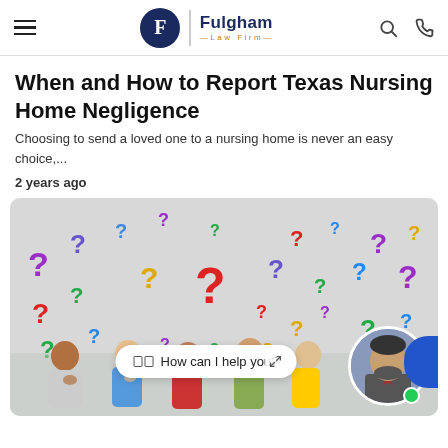Fulgham Law Firm
When and How to Report Texas Nursing Home Negligence
Choosing to send a loved one to a nursing home is never an easy choice,...
2 years ago
[Figure (photo): Colorful question marks scattered on a light background with a group of diverse people thinking at the bottom. A chat bubble reads 'How can I help you?' with a lawyer avatar in a circle on the right.]